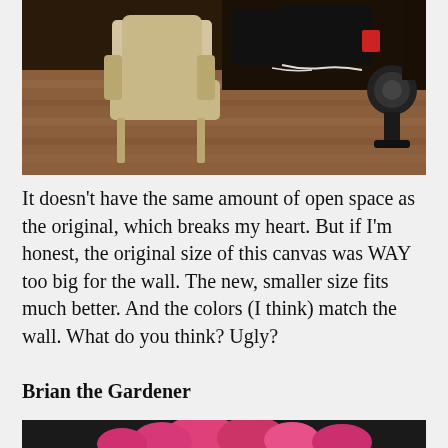[Figure (photo): Room interior showing a beige/cream colored rocking chair on a hardwood floor, with a desk, computer monitors and cables visible in the background, and what appears to a fan or speaker on the right side.]
It doesn't have the same amount of open space as the original, which breaks my heart. But if I'm honest, the original size of this canvas was WAY too big for the wall. The new, smaller size fits much better. And the colors (I think) match the wall. What do you think? Ugly?
Brian the Gardener
[Figure (photo): Bottom portion of a photo showing colorful flowers, partially visible.]